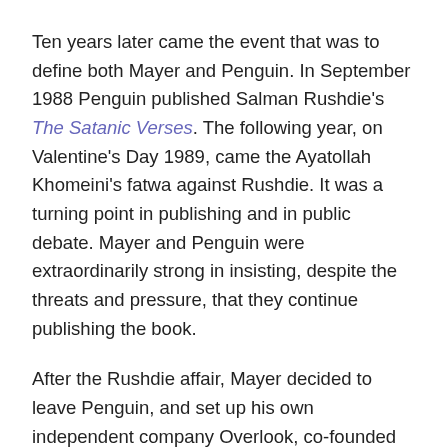Ten years later came the event that was to define both Mayer and Penguin. In September 1988 Penguin published Salman Rushdie's The Satanic Verses. The following year, on Valentine's Day 1989, came the Ayatollah Khomeini's fatwa against Rushdie. It was a turning point in publishing and in public debate. Mayer and Penguin were extraordinarily strong in insisting, despite the threats and pressure, that they continue publishing the book.
After the Rushdie affair, Mayer decided to leave Penguin, and set up his own independent company Overlook, co-founded with his father, as a 'home for distinguished books "overlooked" by larger houses'. Independence, he believed, was 'a quality of mind' and 'freedom to express dissent'. He was, Mayer acknowledged, 'a bit of a trouble-